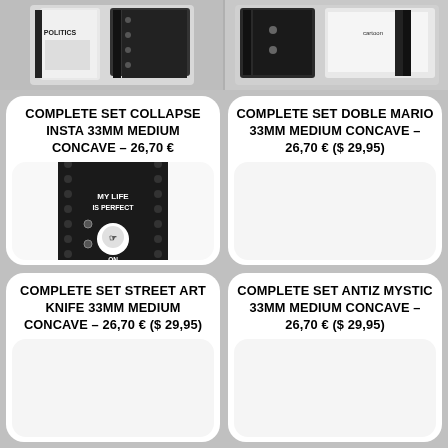[Figure (photo): Photo of fingerboard complete set with politics graphics, top left]
[Figure (photo): Photo of fingerboard complete set with cartoon graphics, top right]
COMPLETE SET COLLAPSE INSTA 33MM MEDIUM CONCAVE – 26,70 €
[Figure (photo): Photo of fingerboard: Close Up Wooden Fingerboard, black with MY LIFE IS PERFECT ON INSTAGRAM text and skull graphics]
COMPLETE SET DOBLE MARIO 33MM MEDIUM CONCAVE – 26,70 € ($ 29,95)
[Figure (photo): Empty white card area for Doble Mario product]
COMPLETE SET STREET ART KNIFE 33MM MEDIUM CONCAVE – 26,70 € ($ 29,95)
[Figure (photo): Empty white card area for Street Art Knife product]
COMPLETE SET ANTIZ MYSTIC 33MM MEDIUM CONCAVE – 26,70 € ($ 29,95)
[Figure (photo): Empty white card area for Antiz Mystic product]